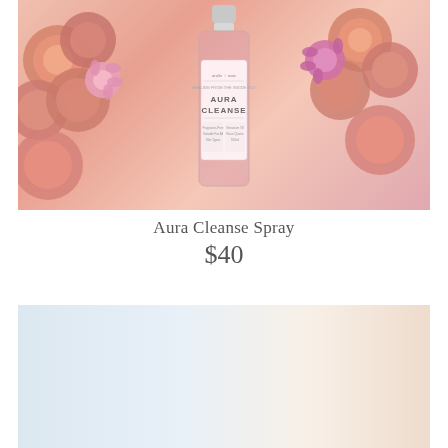[Figure (photo): Product photo of Aura Cleanse Spray bottle surrounded by pink and peach roses against a pink background. Label reads 'ardie + mac AURA CLEANSE'.]
Aura Cleanse Spray
$40
[Figure (photo): Photo of a person wearing jeans and carrying a cream/natural canvas tote bag over their shoulder.]